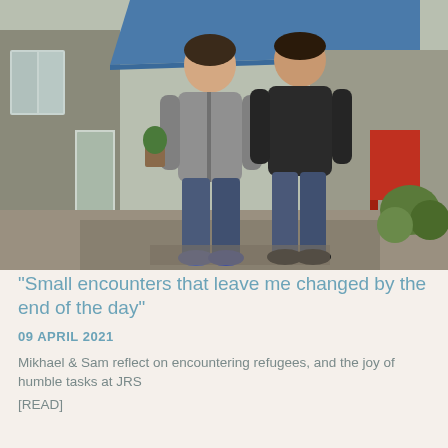[Figure (photo): Two young men standing outdoors in a courtyard or patio area. The man on the left wears a grey hoodie and jeans, the man on the right wears a black long-sleeve shirt and jeans. Behind them is a building with a blue canopy/awning, and there is a red chair and vegetation visible on the right side.]
“Small encounters that leave me changed by the end of the day”
09 APRIL 2021
Mikhael & Sam reflect on encountering refugees, and the joy of humble tasks at JRS
[READ]